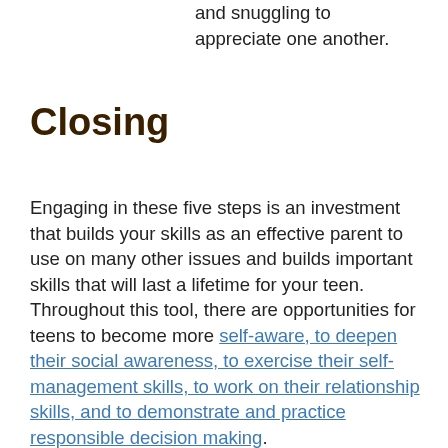and snuggling to appreciate one another.
Closing
Engaging in these five steps is an investment that builds your skills as an effective parent to use on many other issues and builds important skills that will last a lifetime for your teen. Throughout this tool, there are opportunities for teens to become more self-aware, to deepen their social awareness, to exercise their self-management skills, to work on their relationship skills, and to demonstrate and practice responsible decision making.